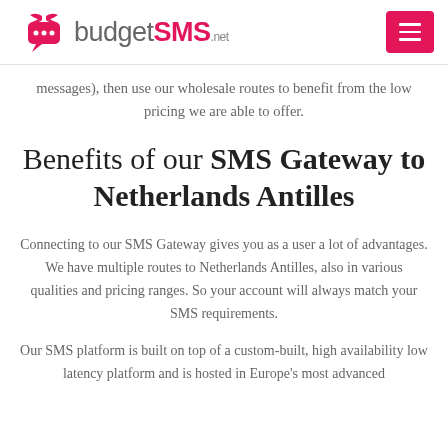budgetSMS.net
messages), then use our wholesale routes to benefit from the low pricing we are able to offer.
Benefits of our SMS Gateway to Netherlands Antilles
Connecting to our SMS Gateway gives you as a user a lot of advantages. We have multiple routes to Netherlands Antilles, also in various qualities and pricing ranges. So your account will always match your SMS requirements.
Our SMS platform is built on top of a custom-built, high availability low latency platform and is hosted in Europe's most advanced